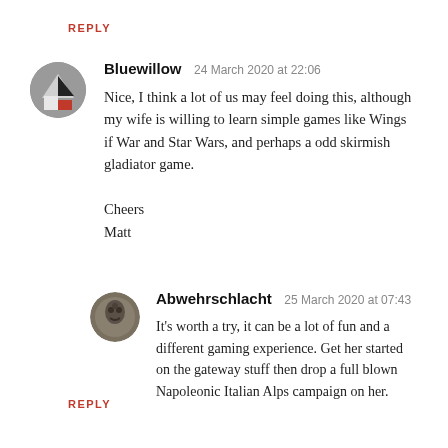REPLY
Bluewillow  24 March 2020 at 22:06
Nice, I think a lot of us may feel doing this, although my wife is willing to learn simple games like Wings if War and Star Wars, and perhaps a odd skirmish gladiator game.

Cheers
Matt
Abwehrschlacht  25 March 2020 at 07:43
It's worth a try, it can be a lot of fun and a different gaming experience. Get her started on the gateway stuff then drop a full blown Napoleonic Italian Alps campaign on her.
REPLY